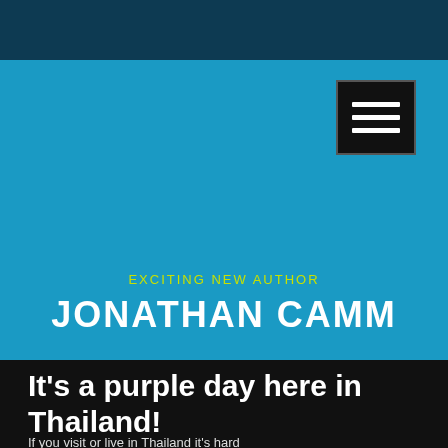[Figure (screenshot): Menu button with three horizontal white bars on black background]
EXCITING NEW AUTHOR
JONATHAN CAMM
It's a purple day here in Thailand!
If you visit or live in Thailand it's hard